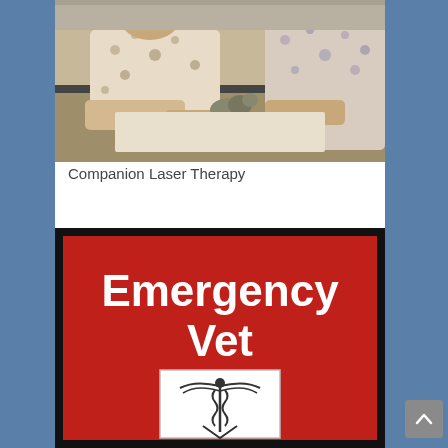[Figure (photo): Two people in patterned shirts examining a small animal (cat) on a table, likely performing laser therapy in a veterinary clinic]
Companion Laser Therapy
[Figure (infographic): Red signage with white text reading 'Emergency Vet' and a veterinary caduceus symbol in a white box below]